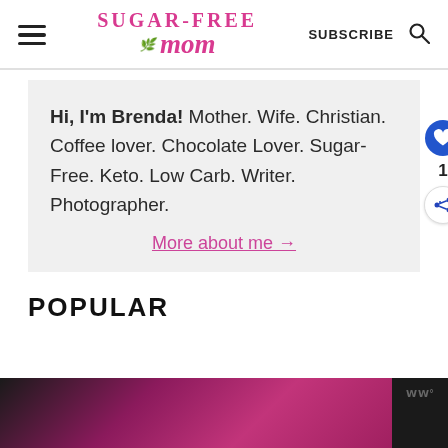Sugar-Free Mom | SUBSCRIBE
Hi, I'm Brenda! Mother. Wife. Christian. Coffee lover. Chocolate Lover. Sugar-Free. Keto. Low Carb. Writer. Photographer.
More about me →
POPULAR
[Figure (photo): Bottom strip showing a partially visible food/recipe image with pink/magenta background and dark border on the right side with WW logo]